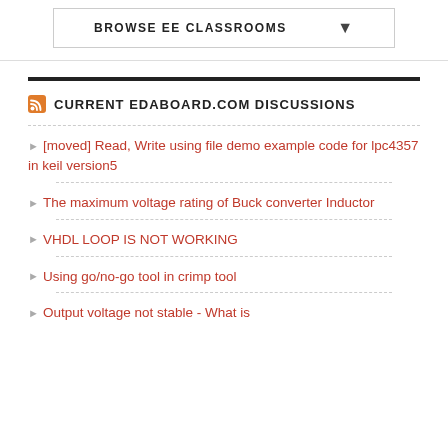BROWSE EE CLASSROOMS
CURRENT EDABOARD.COM DISCUSSIONS
[moved] Read, Write using file demo example code for lpc4357 in keil version5
The maximum voltage rating of Buck converter Inductor
VHDL LOOP IS NOT WORKING
Using go/no-go tool in crimp tool
Output voltage not stable - What is